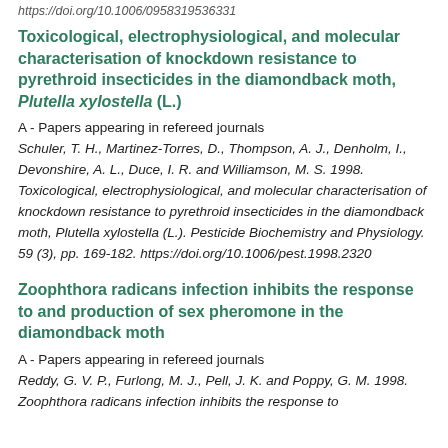https://doi.org/10.1006/0958319536331
Toxicological, electrophysiological, and molecular characterisation of knockdown resistance to pyrethroid insecticides in the diamondback moth, Plutella xylostella (L.)
A - Papers appearing in refereed journals
Schuler, T. H., Martinez-Torres, D., Thompson, A. J., Denholm, I., Devonshire, A. L., Duce, I. R. and Williamson, M. S. 1998. Toxicological, electrophysiological, and molecular characterisation of knockdown resistance to pyrethroid insecticides in the diamondback moth, Plutella xylostella (L.). Pesticide Biochemistry and Physiology. 59 (3), pp. 169-182. https://doi.org/10.1006/pest.1998.2320
Zoophthora radicans infection inhibits the response to and production of sex pheromone in the diamondback moth
A - Papers appearing in refereed journals
Reddy, G. V. P., Furlong, M. J., Pell, J. K. and Poppy, G. M. 1998. Zoophthora radicans infection inhibits the response to